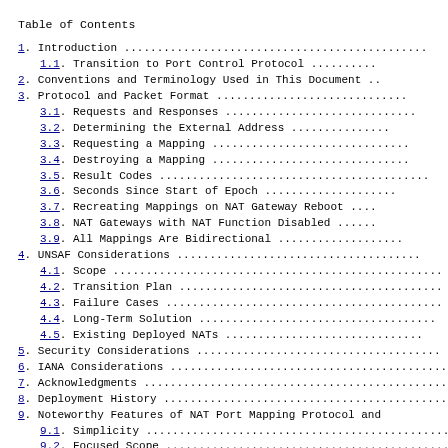Table of Contents
1. Introduction ....................................................
1.1. Transition to Port Control Protocol ............
2. Conventions and Terminology Used in This Document ..
3. Protocol and Packet Format ...............................
3.1. Requests and Responses .............................
3.2. Determining the External Address .................
3.3. Requesting a Mapping ...............................
3.4. Destroying a Mapping ...............................
3.5. Result Codes ............................................
3.6. Seconds Since Start of Epoch ......................
3.7. Recreating Mappings on NAT Gateway Reboot ....
3.8. NAT Gateways with NAT Function Disabled .......
3.9. All Mappings Are Bidirectional ....................
4. UNSAF Considerations .......................................
4.1. Scope .....................................................
4.2. Transition Plan ..........................................
4.3. Failure Cases .............................................
4.4. Long-Term Solution ......................................
4.5. Existing Deployed NATs ................................
5. Security Considerations .....................................
6. IANA Considerations ...........................................
7. Acknowledgments .................................................
8. Deployment History ..............................................
9. Noteworthy Features of NAT Port Mapping Protocol and
9.1. Simplicity ...................................................
9.2. Focused Scope ...............................................